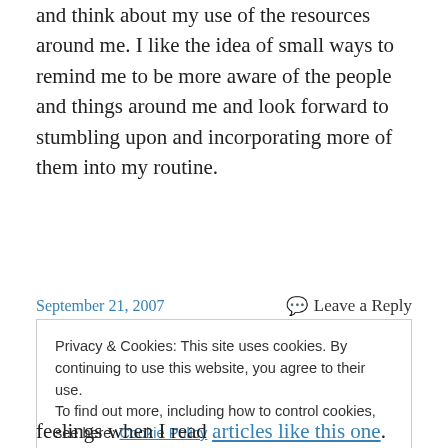and think about my use of the resources around me. I like the idea of small ways to remind me to be more aware of the people and things around me and look forward to stumbling upon and incorporating more of them into my routine.
September 21, 2007
Leave a Reply
Privacy & Cookies: This site uses cookies. By continuing to use this website, you agree to their use.
To find out more, including how to control cookies, see here: Cookie Policy
Close and accept
feelings when I read articles like this one.